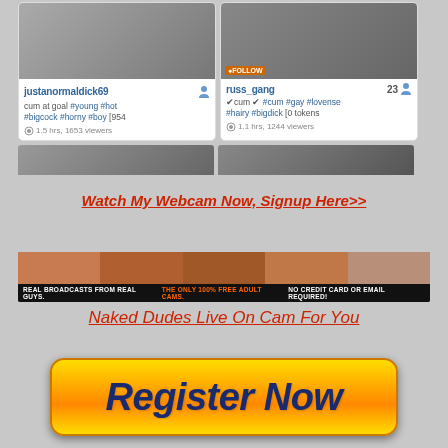[Figure (screenshot): Two webcam performer cards side by side. Left card: username 'justanormaldick69', tags 'cum at goal #young #hot #bigcock #horny #boy [954', viewers '1.5 hrs, 1653 viewers'. Right card: username 'russ_gang', count '23', tags '✔cum ✔ #cum #gay #lovense #hairy #bigdick [0 tokens', viewers '1.1 hrs, 1244 viewers'. Below them are two partial thumbnail cards.]
Watch My Webcam Now, Signup Here>>
[Figure (screenshot): Adult cam site banner: 'REAL BROADCASTS FROM REAL GUYS. THE ONLY 100% FREE ADULT CAMS. NO CREDIT CARD OR EMAIL REQUIRED!']
Naked Dudes Live On Cam For You
[Figure (other): Orange gradient 'Register Now' button]